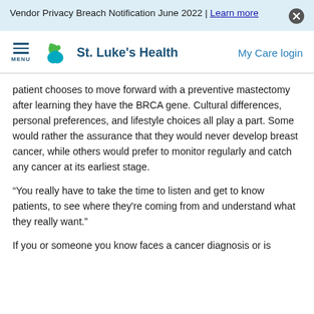Vendor Privacy Breach Notification June 2022 | Learn more
[Figure (logo): St. Luke's Health logo with green and teal star/person icon and dark blue text]
patient chooses to move forward with a preventive mastectomy after learning they have the BRCA gene. Cultural differences, personal preferences, and lifestyle choices all play a part. Some would rather the assurance that they would never develop breast cancer, while others would prefer to monitor regularly and catch any cancer at its earliest stage.
“You really have to take the time to listen and get to know patients, to see where they’re coming from and understand what they really want.”
If you or someone you know faces a cancer diagnosis or is